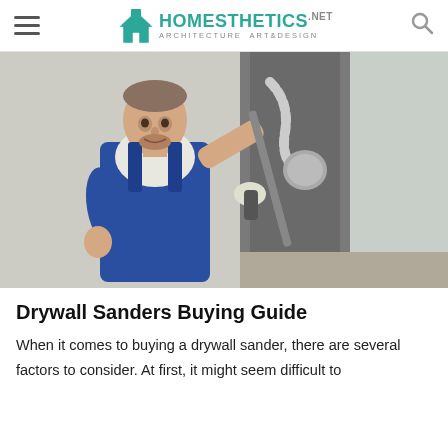Homesthetics.net — Architecture Art&Design
[Figure (photo): A man in blue overalls and work gloves using a drywall sander on a wall inside a room under renovation.]
Drywall Sanders Buying Guide
When it comes to buying a drywall sander, there are several factors to consider. At first, it might seem difficult to